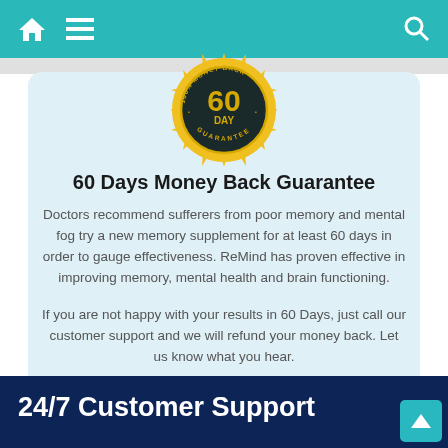Navigation bar with home icon, menu icon, and search icon
[Figure (illustration): Gold seal badge reading '100% MONEY BACK GUARANTEE' with '60 DAY' in large text in the center, on a dark circular background]
60 Days Money Back Guarantee
Doctors recommend sufferers from poor memory and mental fog try a new memory supplement for at least 60 days in order to gauge effectiveness. ReMind has proven effective in improving memory, mental health and brain functioning.
If you are not happy with your results in 60 Days, just call our customer support and we will refund your money back. Let us know what you hear.
24/7 Customer Support